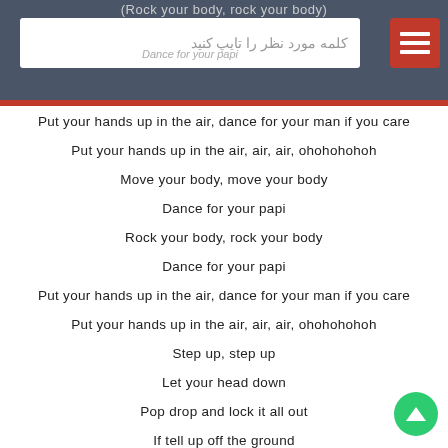(Rock your body, rock your body)
كلمه مورد نظر را تایپ کنید
Dance for your papi
Put your hands up in the air, dance for your man if you care
Put your hands up in the air, air, air, ohohohohoh
Move your body, move your body
Dance for your papi
Rock your body, rock your body
Dance for your papi
Put your hands up in the air, dance for your man if you care
Put your hands up in the air, air, air, ohohohohoh
Step up, step up
Let your head down
Pop drop and lock it all out
If tell up off the ground
Dance for your papi